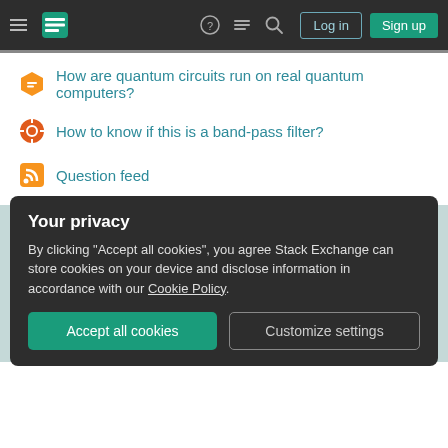Stack Exchange navigation bar with Log in and Sign up buttons
How are quantum circuits run on real quantum computers?
How to know if this is a band-pass filter?
Question feed
ENGLISH LANGUAGE LEARNERS
Tour  Help  Chat  Contact  Feedback
COMPANY
Stack Overflow  Teams  Advertising  Collectives  Talent  About  Press
Legal  Privacy Policy  Terms of Service  Cookie Settings  Cookie Policy
Your privacy
By clicking "Accept all cookies", you agree Stack Exchange can store cookies on your device and disclose information in accordance with our Cookie Policy.
Blog  Facebook  Twitter  LinkedIn  Instagram